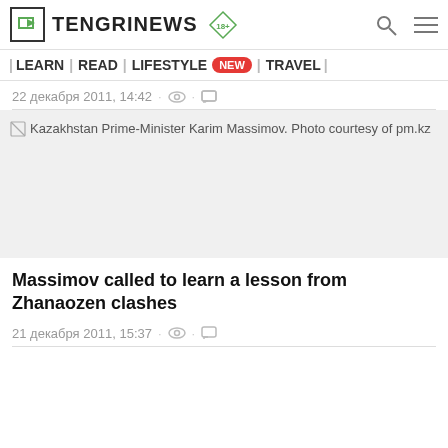TENGRINEWS 18+
| LEARN | READ | LIFESTYLE NEW | TRAVEL |
22 декабря 2011, 14:42
[Figure (photo): Kazakhstan Prime-Minister Karim Massimov. Photo courtesy of pm.kz]
Massimov called to learn a lesson from Zhanaozen clashes
21 декабря 2011, 15:37